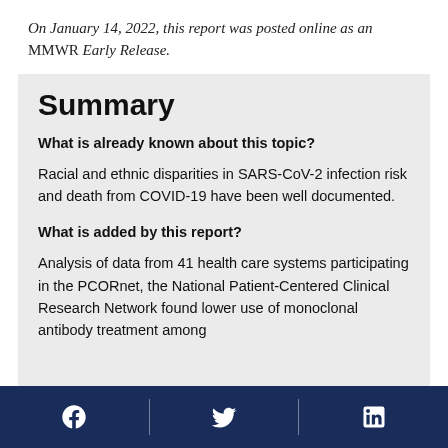On January 14, 2022, this report was posted online as an MMWR Early Release.
Summary
What is already known about this topic?
Racial and ethnic disparities in SARS-CoV-2 infection risk and death from COVID-19 have been well documented.
What is added by this report?
Analysis of data from 41 health care systems participating in the PCORnet, the National Patient-Centered Clinical Research Network found lower use of monoclonal antibody treatment among
Facebook | Twitter | LinkedIn